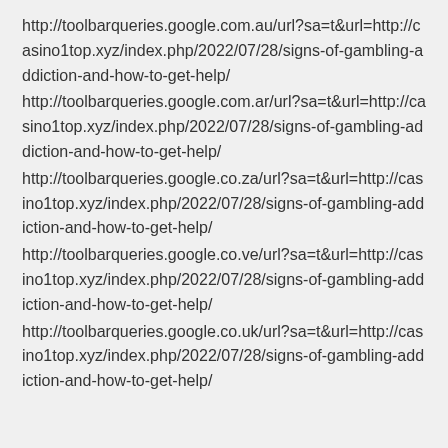http://toolbarqueries.google.com.au/url?sa=t&url=http://casino1top.xyz/index.php/2022/07/28/signs-of-gambling-addiction-and-how-to-get-help/
http://toolbarqueries.google.com.ar/url?sa=t&url=http://casino1top.xyz/index.php/2022/07/28/signs-of-gambling-addiction-and-how-to-get-help/
http://toolbarqueries.google.co.za/url?sa=t&url=http://casino1top.xyz/index.php/2022/07/28/signs-of-gambling-addiction-and-how-to-get-help/
http://toolbarqueries.google.co.ve/url?sa=t&url=http://casino1top.xyz/index.php/2022/07/28/signs-of-gambling-addiction-and-how-to-get-help/
http://toolbarqueries.google.co.uk/url?sa=t&url=http://casino1top.xyz/index.php/2022/07/28/signs-of-gambling-addiction-and-how-to-get-help/